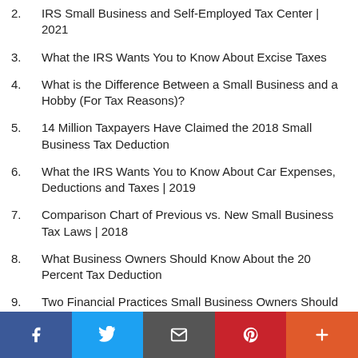2. IRS Small Business and Self-Employed Tax Center | 2021
3. What the IRS Wants You to Know About Excise Taxes
4. What is the Difference Between a Small Business and a Hobby (For Tax Reasons)?
5. 14 Million Taxpayers Have Claimed the 2018 Small Business Tax Deduction
6. What the IRS Wants You to Know About Car Expenses, Deductions and Taxes | 2019
7. Comparison Chart of Previous vs. New Small Business Tax Laws | 2018
8. What Business Owners Should Know About the 20 Percent Tax Deduction
9. Two Financial Practices Small Business Owners Should Change | 2018
10. IRS Resources Related to How the New Tax Law May Affect Your